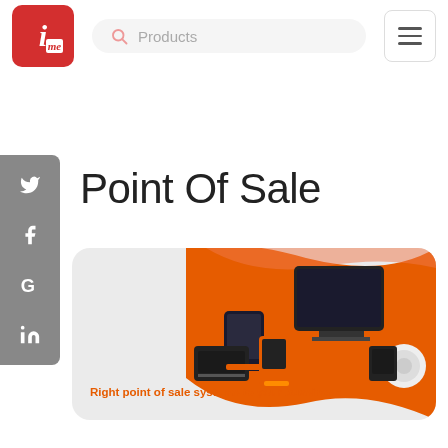[Figure (logo): IME logo — red rounded square with white italic 'i' and red 'me' subscript]
Products
[Figure (illustration): Hamburger menu icon — three horizontal lines in a rounded rectangle border]
Point Of Sale
[Figure (illustration): Social media sidebar with Twitter, Facebook, Google, and LinkedIn icons on a gray background]
[Figure (photo): Banner showing point of sale hardware products on an orange background with the text 'Right point of sale systems to your bussiness']
Right point of sale systems to your bussiness